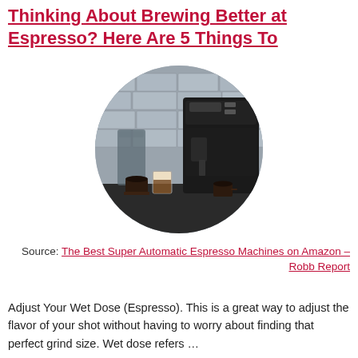Thinking About Brewing Better at Espresso? Here Are 5 Things To
[Figure (photo): Circular cropped photo of an espresso machine with coffee cups in front, on a dark counter with a grey brick tile wall in the background.]
Source: The Best Super Automatic Espresso Machines on Amazon – Robb Report
Adjust Your Wet Dose (Espresso). This is a great way to adjust the flavor of your shot without having to worry about finding that perfect grind size. Wet dose refers …